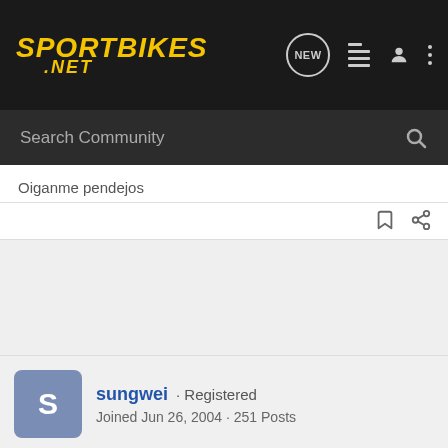Sportbikes .NET — Search Community
Oiganme pendejos
sungwei · Registered
Joined Jun 26, 2004 · 251 Posts
Discussion Starter · #5 · Jul 20, 2004
Ok, so it wasn't just me and I guess if that was the name in the